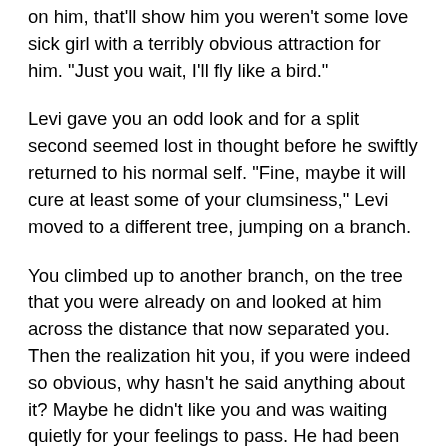on him, that'll show him you weren't some love sick girl with a terribly obvious attraction for him. "Just you wait, I'll fly like a bird."
Levi gave you an odd look and for a split second seemed lost in thought before he swiftly returned to his normal self. "Fine, maybe it will cure at least some of your clumsiness," Levi moved to a different tree, jumping on a branch.
You climbed up to another branch, on the tree that you were already on and looked at him across the distance that now separated you. Then the realization hit you, if you were indeed so obvious, why hasn't he said anything about it? Maybe he didn't like you and was waiting quietly for your feelings to pass. He had been kind of harsh in his training recently, harsher than normal that is. You got the impression that he was concerned about how prepared you were to join the